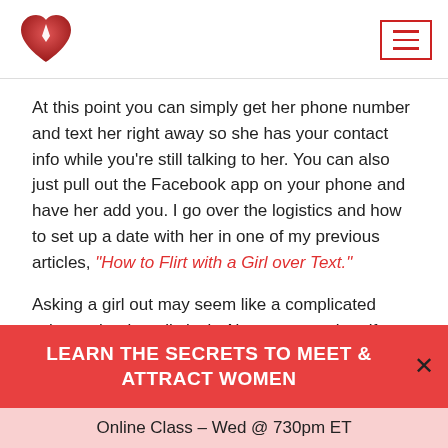[Figure (logo): Red heart logo with white diamond shape inside, website logo]
At this point you can simply get her phone number and text her right away so she has your contact info while you're still talking to her. You can also just pull out the Facebook app on your phone and have her add you. I go over the logistics and how to set up a date with her in one of my previous articles, "How to Flirt with a Girl over Text."
Asking a girl out may seem like a complicated science, but it really isn't. Always remember, if you find out she has a boyfriend or just isn't that into you
LEARN THE SECRETS TO MEET & ATTRACT WOMEN
Online Class – Wed @ 730pm ET